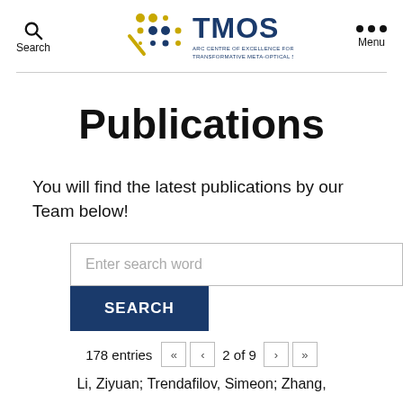Search | TMOS Logo | Menu
Publications
You will find the latest publications by our Team below!
Enter search word [search input] SEARCH [button]
178 entries « ‹ 2 of 9 › »
Li, Ziyuan; Trendafilov, Simeon; Zhang,